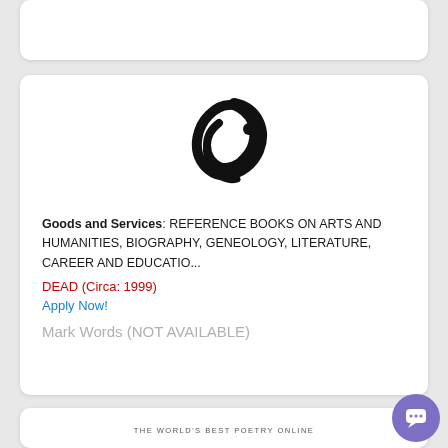[Figure (logo): Abstract swirling figure/face logo mark in black]
Goods and Services: REFERENCE BOOKS ON ARTS AND HUMANITIES, BIOGRAPHY, GENEOLOGY, LITERATURE, CAREER AND EDUCATIO...
DEAD (Circa: 1999)
Apply Now!
Mark Words (NOT AVAILABLE)
[Figure (logo): THE WORLD'S BEST POETRY ONLINE text logo]